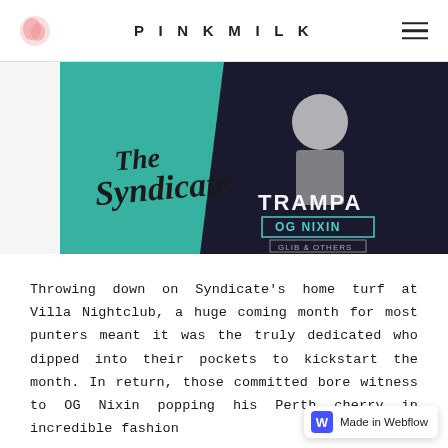PINKMILK
[Figure (illustration): Event promotional image for 'The Syndicate' featuring TRAMPA and OG Nixin. Left half is teal/green with 'The Syndicate' in cursive script; right half is dark/black with a DJ figure and text reading TRAMPA, OG NIXIN, and additional smaller text.]
Throwing down on Syndicate's home turf at Villa Nightclub, a huge coming month for most punters meant it was the truly dedicated who dipped into their pockets to kickstart the month. In return, those committed bore witness to OG Nixin popping his Perth cherry in incredible fashion